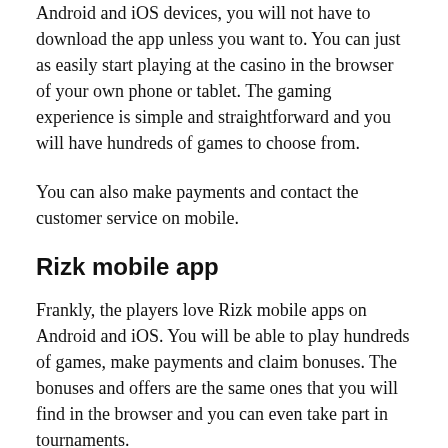Android and iOS devices, you will not have to download the app unless you want to. You can just as easily start playing at the casino in the browser of your own phone or tablet. The gaming experience is simple and straightforward and you will have hundreds of games to choose from.
You can also make payments and contact the customer service on mobile.
Rizk mobile app
Frankly, the players love Rizk mobile apps on Android and iOS. You will be able to play hundreds of games, make payments and claim bonuses. The bonuses and offers are the same ones that you will find in the browser and you can even take part in tournaments.
The mobile apps are easy and fast to download and they are basically a bit more simplified version of the browser version